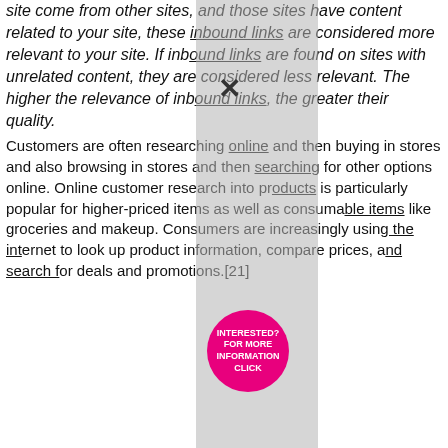site come from other sites, and those sites have content related to your site, these inbound links are considered more relevant to your site. If inbound links are found on sites with unrelated content, they are considered less relevant. The higher the relevance of inbound links, the greater their quality.
Customers are often researching online and then buying in stores and also browsing in stores and then searching for other options online. Online customer research into products is particularly popular for higher-priced items as well as consumable items like groceries and makeup. Consumers are increasingly using the internet to look up product information, compare prices, and search for deals and promotions.[21]
[Figure (photo): Blue banner with text 'INSTALAR PLM DICCIONARIO DE ESPECIALIDADES FARMACÉUTICAS 2013' in red italic bold font on a blue gradient background with circular orbs. Below is a product image bar showing 'Diccionario de Especialidades Farmacéuticas 2013' book cover on left and PLM logo with 'www.plmlatina.com' and 'Sistema inteligente' text on right.]